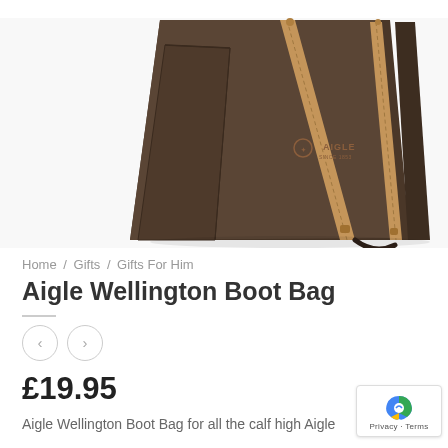[Figure (photo): Aigle Wellington Boot Bag product photo — dark brown canvas bag with bronze/tan zippers and Aigle logo, shot against white background]
Home / Gifts / Gifts For Him
Aigle Wellington Boot Bag
£19.95
Aigle Wellington Boot Bag for all the calf high Aigle